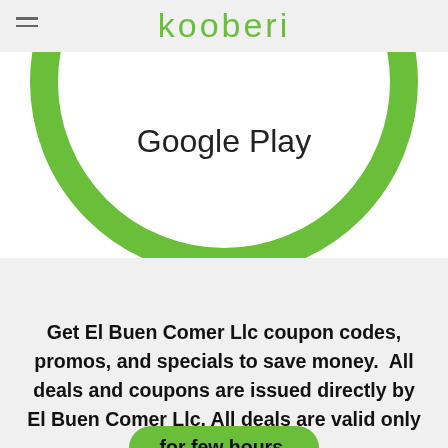[Figure (logo): Kooberi app logo with green ring circle and Google Play text inside, on light gray header bar with hamburger menu icon]
Get El Buen Comer Llc coupon codes, promos, and specials to save money.  All deals and coupons are issued directly by El Buen Comer Llc. All deals are valid only for few hours.